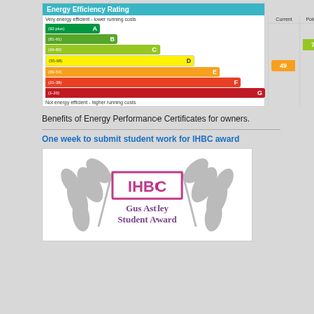[Figure (infographic): Energy Efficiency Rating chart showing bands A through G with Current rating of 49 (E band) and Potential rating of 76 (C band)]
Benefits of Energy Performance Certificates for owners.
One week to submit student work for IHBC award
[Figure (logo): IHBC Gus Astley Student Award logo with decorative laurel branches]